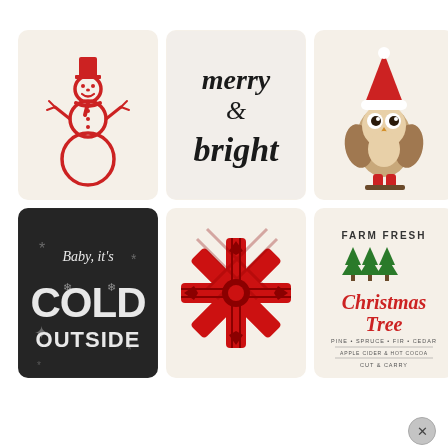[Figure (photo): Six Christmas throw pillow covers arranged in a 3x2 grid on a white background. Top row: (1) cream pillow with red snowman illustration, (2) cream pillow with black cursive 'merry & bright' text, (3) cream pillow with watercolor owl wearing a red Santa hat. Bottom row: (4) dark/black pillow with white chalk-style text 'Baby It's COLD OUTSIDE' with snowflakes, (5) cream pillow with large red and black plaid/tartan snowflake design, (6) cream pillow with 'FARM FRESH Christmas Tree' text and green pine tree illustrations in red and green. A circular X/close button appears in the lower right area.]